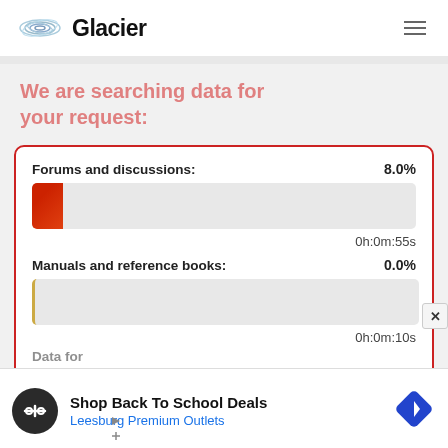Glacier
We are searching data for your request:
Forums and discussions: 8.0%
0h:0m:55s
Manuals and reference books: 0.0%
0h:0m:10s
[Figure (screenshot): Advertisement banner: Shop Back To School Deals - Leesburg Premium Outlets]